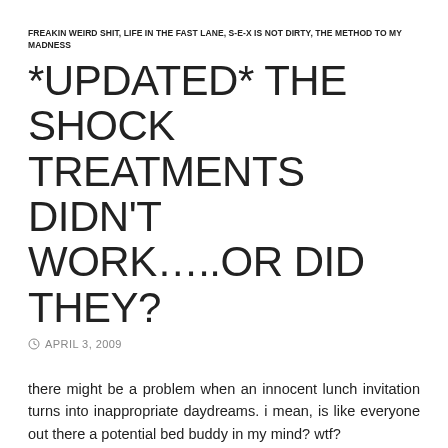FREAKIN WEIRD SHIT, LIFE IN THE FAST LANE, S-E-X IS NOT DIRTY, THE METHOD TO MY MADNESS
*UPDATED* THE SHOCK TREATMENTS DIDN'T WORK…..OR DID THEY?
APRIL 3, 2009
there might be a problem when an innocent lunch invitation turns into inappropriate daydreams. i mean, is like everyone out there a potential bed buddy in my mind? wtf?
i think the shock treatments have backfired. either that or they were trying to turn me into a nymphomaniac where no one is safe. that would be awesome.